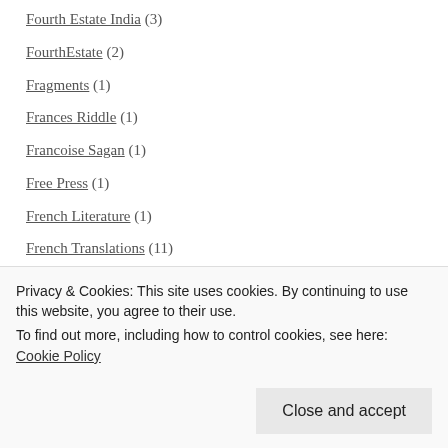Fourth Estate India (3)
FourthEstate (2)
Fragments (1)
Frances Riddle (1)
Francoise Sagan (1)
Free Press (1)
French Literature (1)
French Translations (11)
friendship (3)
FSG Originals (18)
Gabriel García Márquez (1)
Gallery Books (1)
Privacy & Cookies: This site uses cookies. By continuing to use this website, you agree to their use. To find out more, including how to control cookies, see here: Cookie Policy